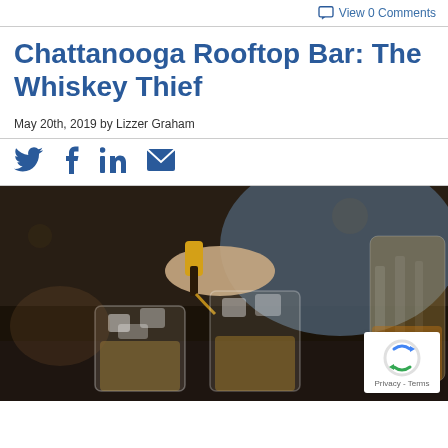View 0 Comments
Chattanooga Rooftop Bar: The Whiskey Thief
May 20th, 2019 by Lizzer Graham
[Figure (infographic): Social media share icons: Twitter bird, Facebook f, LinkedIn in, email envelope — all in blue]
[Figure (photo): Bartender pouring whiskey from a bottle with a yellow pour spout into a crystal glass with ice, two whiskey glasses in foreground, crystal decanter on right, dark moody background]
[Figure (other): reCAPTCHA badge with spinning arrows icon and Privacy - Terms text]